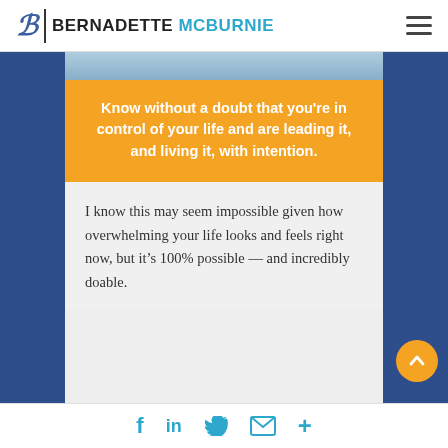BERNADETTE MCBURNIE
[Figure (photo): Partial photo of a person visible at top of center column]
Know without a doubt that you're in control of your life and are leading it, and living it, with intention.
I know this may seem impossible given how overwhelming your life looks and feels right now, but it’s 100% possible — and incredibly doable.
f  in  (twitter)  (mail)  +